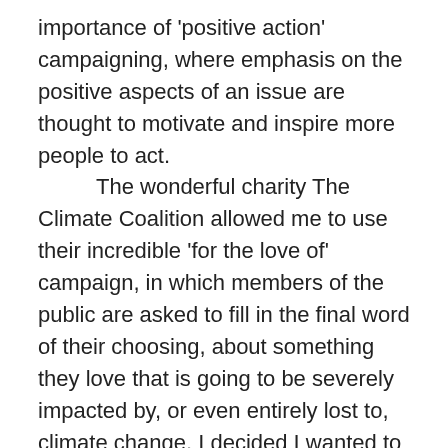importance of 'positive action' campaigning, where emphasis on the positive aspects of an issue are thought to motivate and inspire more people to act. The wonderful charity The Climate Coalition allowed me to use their incredible 'for the love of' campaign, in which members of the public are asked to fill in the final word of their choosing, about something they love that is going to be severely impacted by, or even entirely lost to, climate change. I decided I wanted to present this idea in the most comprehensive way I could imagine, so wrote a symphony in which a phrase and photo from someone from every single country in the world